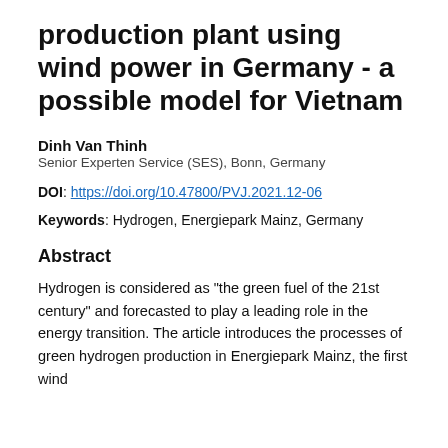production plant using wind power in Germany - a possible model for Vietnam
Dinh Van Thinh
Senior Experten Service (SES), Bonn, Germany
DOI: https://doi.org/10.47800/PVJ.2021.12-06
Keywords: Hydrogen, Energiepark Mainz, Germany
Abstract
Hydrogen is considered as "the green fuel of the 21st century" and forecasted to play a leading role in the energy transition. The article introduces the processes of green hydrogen production in Energiepark Mainz, the first wind